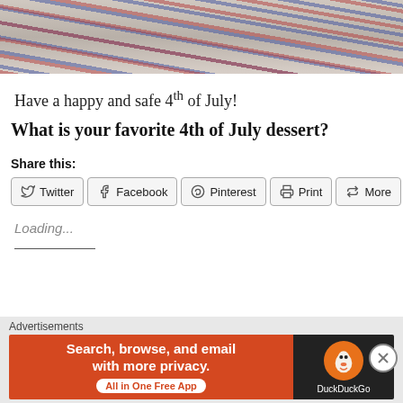[Figure (photo): Close-up photo of decorated cookies with red and blue frosting, patriotic theme]
Have a happy and safe 4th of July!
What is your favorite 4th of July dessert?
Share this:
Twitter  Facebook  Pinterest  Print  More
Loading...
Advertisements
[Figure (screenshot): DuckDuckGo advertisement banner: Search, browse, and email with more privacy. All in One Free App.]